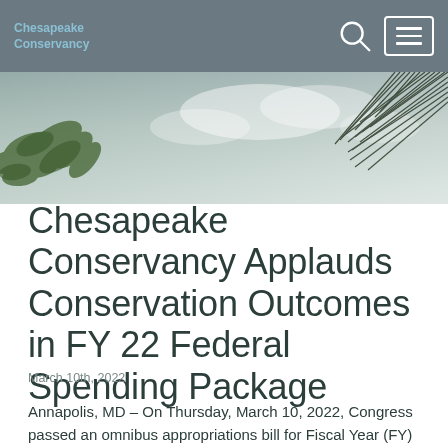Chesapeake Conservancy
[Figure (photo): Outdoor nature photo with pine tree branches in upper right and green leaves in upper left against a pale sky background, serving as hero banner image]
Chesapeake Conservancy Applauds Conservation Outcomes in FY 22 Federal Spending Package
March 10th, 2022
Annapolis, MD – On Thursday, March 10, 2022, Congress passed an omnibus appropriations bill for Fiscal Year (FY) 2022. The annual federal spending package provides funding for several programs important to conservation in the